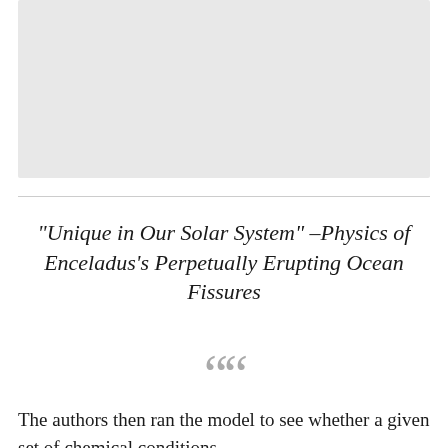[Figure (photo): Gray placeholder image area at top of page]
“Unique in Our Solar System” –Physics of Enceladus’s Perpetually Erupting Ocean Fissures
““
The authors then ran the model to see whether a given set of chemical conditions